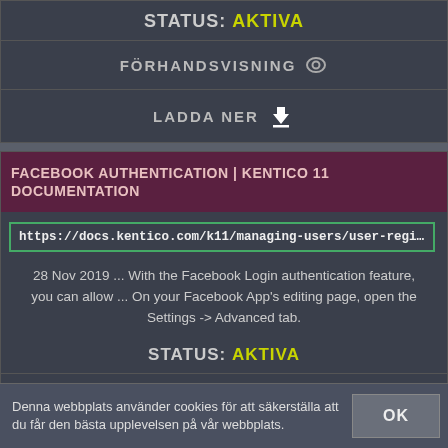STATUS: AKTIVA
FÖRHANDSVISNING
LADDA NER
FACEBOOK AUTHENTICATION | KENTICO 11 DOCUMENTATION
https://docs.kentico.com/k11/managing-users/user-registration-and-auth
28 Nov 2019 ... With the Facebook Login authentication feature, you can allow ... On your Facebook App's editing page, open the Settings -> Advanced tab.
STATUS: AKTIVA
FÖRHANDSVISNING
Denna webbplats använder cookies för att säkerställa att du får den bästa upplevelsen på vår webbplats.
OK